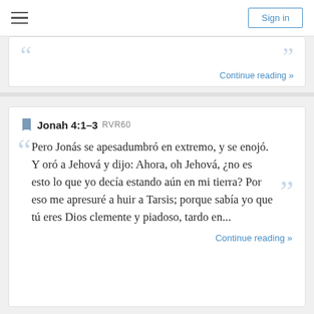Sign in
Continue reading »
Jonah 4:1–3 RVR60
Pero Jonás se apesadumbró en extremo, y se enojó. Y oró a Jehová y dijo: Ahora, oh Jehová, ¿no es esto lo que yo decía estando aún en mi tierra? Por eso me apresuré a huir a Tarsis; porque sabía yo que tú eres Dios clemente y piadoso, tardo en...
Continue reading »